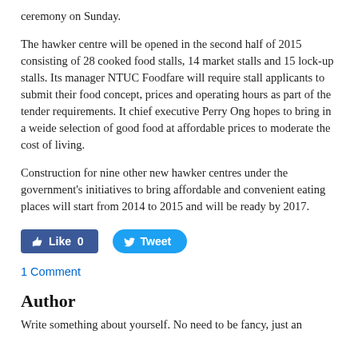ceremony on Sunday.
The hawker centre will be opened in the second half of 2015 consisting of 28 cooked food stalls, 14 market stalls and 15 lock-up stalls. Its manager NTUC Foodfare will require stall applicants to submit their food concept, prices and operating hours as part of the tender requirements. It chief executive Perry Ong hopes to bring in a weide selection of good food at affordable prices to moderate the cost of living.
Construction for nine other new hawker centres under the government's initiatives to bring affordable and convenient eating places will start from 2014 to 2015 and will be ready by 2017.
[Figure (other): Social media buttons: Facebook Like (0) and Twitter Tweet]
1 Comment
Author
Write something about yourself. No need to be fancy, just an